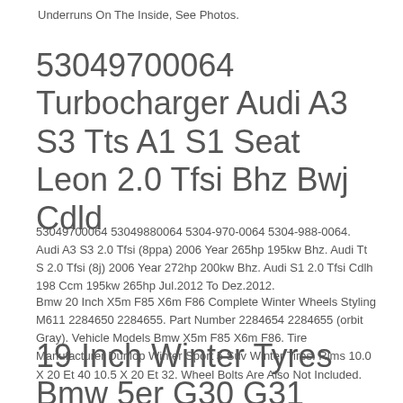Underruns On The Inside, See Photos.
53049700064 Turbocharger Audi A3 S3 Tts A1 S1 Seat Leon 2.0 Tfsi Bhz Bwj Cdld
53049700064 53049880064 5304-970-0064 5304-988-0064. Audi A3 S3 2.0 Tfsi (8ppa) 2006 Year 265hp 195kw Bhz. Audi Tt S 2.0 Tfsi (8j) 2006 Year 272hp 200kw Bhz. Audi S1 2.0 Tfsi Cdlh 198 Ccm 195kw 265hp Jul.2012 To Dez.2012.
Bmw 20 Inch X5m F85 X6m F86 Complete Winter Wheels Styling M611 2284650 2284655. Part Number 2284654 2284655 (orbit Gray). Vehicle Models Bmw X5m F85 X6m F86. Tire Manufacturer Dunlop Winter Sport 5 Suv Winter Tires. Rims 10.0 X 20 Et 40 10.5 X 20 Et 32. Wheel Bolts Are Also Not Included.
19 Inch Winter Tyres Bmw 5er G30 G31 M664 7856925